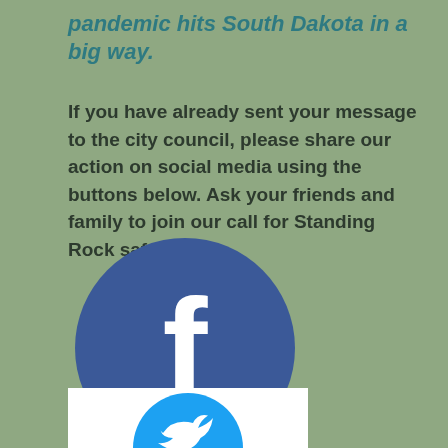pandemic hits South Dakota in a big way.
If you have already sent your message to the city council, please share our action on social media using the buttons below. Ask your friends and family to join our call for Standing Rock safety now.
[Figure (logo): Facebook logo: dark blue circle with white lowercase 'f' in the center]
[Figure (logo): Twitter logo: light blue circle partially visible at bottom of page]